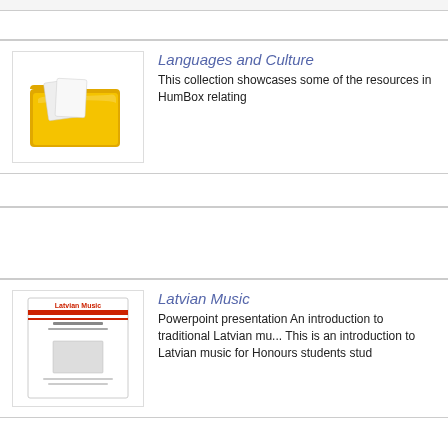[Figure (illustration): Yellow folder icon]
Languages and Culture
This collection showcases some of the resources in HumBox relating
[Figure (illustration): Latvian Music powerpoint presentation thumbnail]
Latvian Music
Powerpoint presentation An introduction to traditional Latvian mu... This is an introduction to Latvian music for Honours students stud
Famous People Born in Latvia